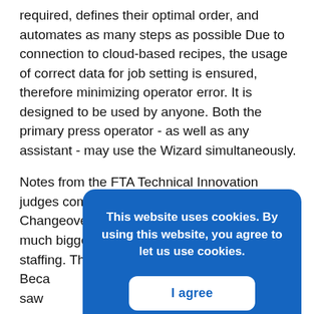required, defines their optimal order, and automates as many steps as possible Due to connection to cloud-based recipes, the usage of correct data for job setting is ensured, therefore minimizing operator error. It is designed to be used by anyone. Both the primary press operator - as well as any assistant - may use the Wizard simultaneously.
Notes from the FTA Technical Innovation judges commented that the SOMA Changeover Wizard attempts to address a much bigger industry problem of pure technical staffing. The ability to guide an operator thro[...] Beca[...] saw[...] "We [...] Chan[...] award. This was very much a team effort. Many people
This website uses cookies. By using this website, you agree to let us use cookies.
I agree